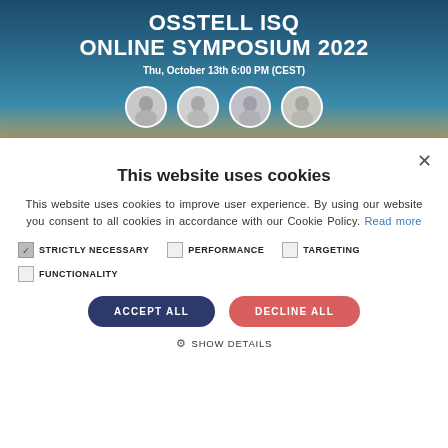[Figure (illustration): Banner image for Osstell ISQ Online Symposium 2022 with coastal background, title text, date, and four circular profile photos of speakers]
This website uses cookies
This website uses cookies to improve user experience. By using our website you consent to all cookies in accordance with our Cookie Policy. Read more
STRICTLY NECESSARY (checked)
PERFORMANCE (unchecked)
TARGETING (unchecked)
FUNCTIONALITY (unchecked)
ACCEPT ALL
DECLINE ALL
SHOW DETAILS